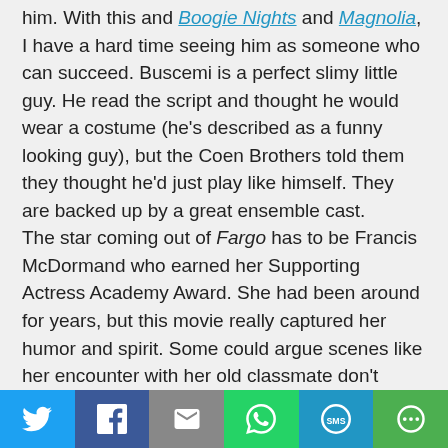him.  With this and Boogie Nights and Magnolia, I have a hard time seeing him as someone who can succeed.  Buscemi  is a perfect slimy little guy.  He read the script and thought he would wear a costume (he's described as a funny looking guy), but the Coen Brothers told them they thought he'd just play like himself.  They are backed up by a great ensemble cast.

The star coming out of Fargo has to be Francis McDormand who earned her Supporting Actress Academy Award.  She had been around for years, but this movie really captured her humor and spirit.  Some could argue scenes like her encounter with her old classmate don't really add to the plot, but it does add to the end of the story when she can't comprehend the darkness in the world and why money corrupts people who could be
[Figure (other): Social sharing toolbar with icons: Twitter (blue), Facebook (dark blue), Email (gray), WhatsApp (green), SMS (light blue), More (green)]